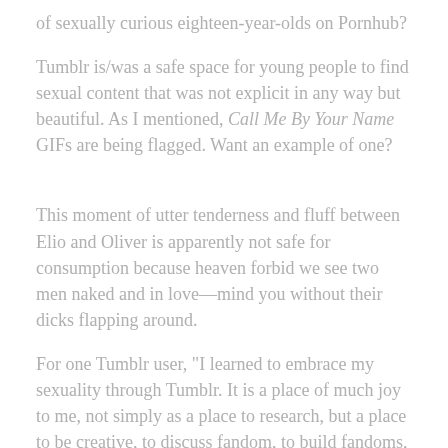of sexually curious eighteen-year-olds on Pornhub?
Tumblr is/was a safe space for young people to find sexual content that was not explicit in any way but beautiful. As I mentioned, Call Me By Your Name GIFs are being flagged. Want an example of one?
This moment of utter tenderness and fluff between Elio and Oliver is apparently not safe for consumption because heaven forbid we see two men naked and in love—mind you without their dicks flapping around.
For one Tumblr user, "I learned to embrace my sexuality through Tumblr. It is a place of much joy to me, not simply as a place to research, but a place to be creative, to discuss fandom, to build fandoms, and to make connections with people… in short—everything I have